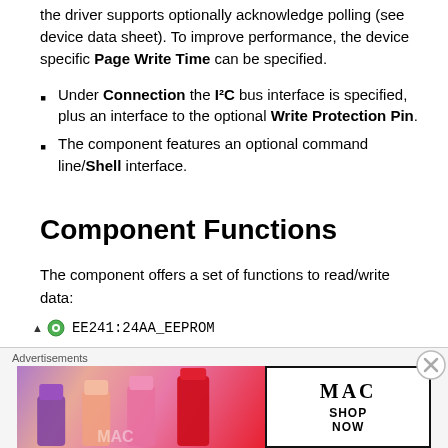the driver supports optionally acknowledge polling (see device data sheet). To improve performance, the device specific Page Write Time can be specified.
Under Connection the I²C bus interface is specified, plus an interface to the optional Write Protection Pin.
The component features an optional command line/Shell interface.
Component Functions
The component offers a set of functions to read/write data:
EE241:24AA_EEPROM